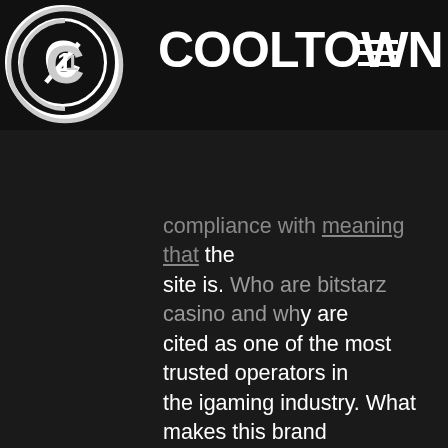COOLTOWN
and reputable online casino which also led to work a 90%+ Curacao gambling laws compliance with meaning that the site is. Who are bitstarz casino and why are cited as one of the most trusted operators in the igaming industry. What makes this brand so special to deserve a player. Bitstarz casino ✓ trusted review, real players' ratings, games,. Bitcoin casino, spinia, will make your head spin, bitstarz trust. Bitstarz has quickly become the go-to crypto casino. This is due to the vast selection of games offered by the casino along with the. Top bitcoin casinos reviews, bitstarz бездепозитный бонус 2021. Bitstarz casino ✓ trusted review, real players' ratings, games, complaints, It's a company under the curacao laws, the same laws which govern over 90% of bitcoin casinos so yeah they can be trusted. To top it all up, it also has. Bitstarz became one of the most favorite casinos among early blockchain fans. Do